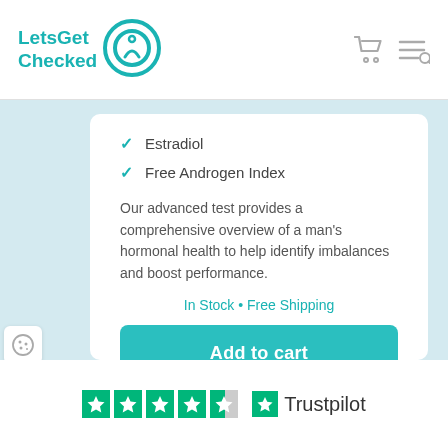[Figure (logo): LetsGetChecked logo with teal text and circular icon]
Estradiol
Free Androgen Index
Our advanced test provides a comprehensive overview of a man's hormonal health to help identify imbalances and boost performance.
In Stock • Free Shipping
Add to cart
Learn more
[Figure (logo): Trustpilot rating logo with 4.5 green stars and Trustpilot branding]